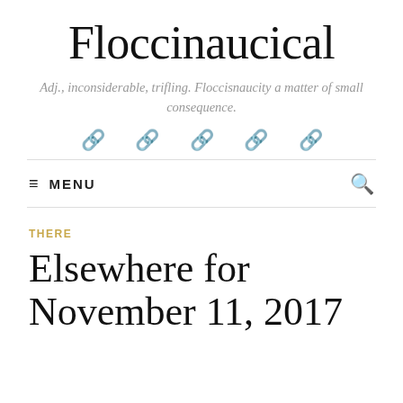Floccinaucical
Adj., inconsiderable, trifling. Floccisnaucity a matter of small consequence.
≡ MENU
THERE
Elsewhere for November 11, 2017